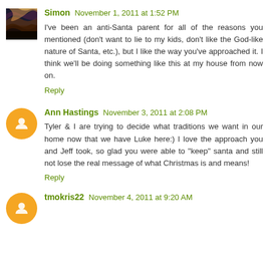Simon  November 1, 2011 at 1:52 PM
I've been an anti-Santa parent for all of the reasons you mentioned (don't want to lie to my kids, don't like the God-like nature of Santa, etc.), but I like the way you've approached it. I think we'll be doing something like this at my house from now on.
Reply
Ann Hastings  November 3, 2011 at 2:08 PM
Tyler & I are trying to decide what traditions we want in our home now that we have Luke here:) I love the approach you and Jeff took, so glad you were able to "keep" santa and still not lose the real message of what Christmas is and means!
Reply
tmokris22  November 4, 2011 at 9:20 AM